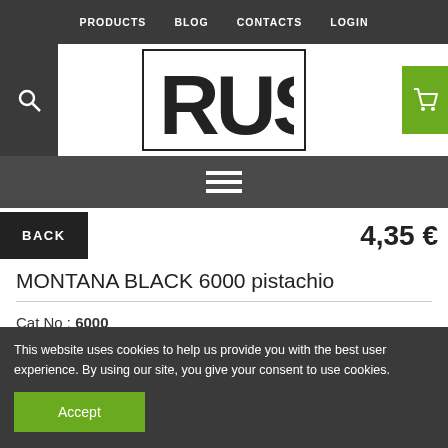PRODUCTS  BLOG  CONTACTS  LOGIN
[Figure (logo): RUSH brand logo in block letters inside a rectangular border]
[Figure (other): Hamburger menu icon (three horizontal white lines on dark grey background)]
BACK
4,35 €
MONTANA BLACK 6000 pistachio
Cat No : 6000
This website uses cookies to help us provide you with the best user experience. By using our site, you give your consent to use cookies.
Accept